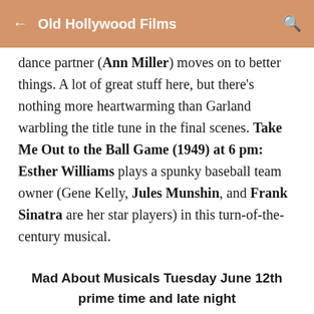Old Hollywood Films
dance partner (Ann Miller) moves on to better things. A lot of great stuff here, but there's nothing more heartwarming than Garland warbling the title tune in the final scenes. Take Me Out to the Ball Game (1949) at 6 pm: Esther Williams plays a spunky baseball team owner (Gene Kelly, Jules Munshin, and Frank Sinatra are her star players) in this turn-of-the-century musical.
Mad About Musicals Tuesday June 12th prime time and late night